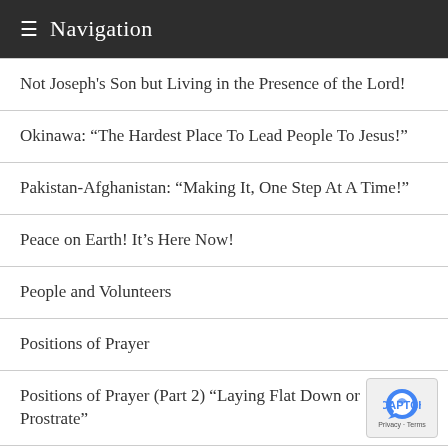Navigation
Not Joseph's Son but Living in the Presence of the Lord!
Okinawa: “The Hardest Place To Lead People To Jesus!”
Pakistan-Afghanistan: “Making It, One Step At A Time!”
Peace on Earth! It’s Here Now!
People and Volunteers
Positions of Prayer
Positions of Prayer (Part 2) “Laying Flat Down or Prostrate”
Positions of Prayer (Part 3) “Hands Raised”